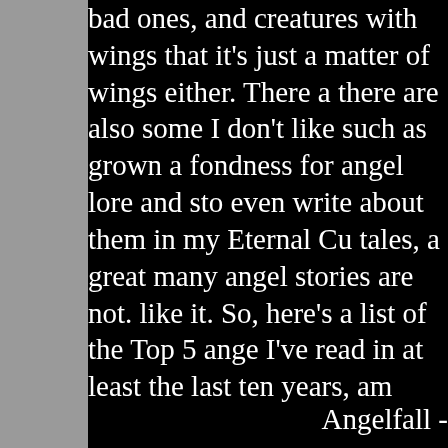bad ones, and creatures with wings that it's just a matter of wings either. There a there are also some I don't like such as grown a fondness for angel lore and sto even write about them in my Eternal Cu tales, a great many angel stories are not. like it. So, here's a list of the Top 5 ange I've read in at least the last ten years, am
Angelfall -